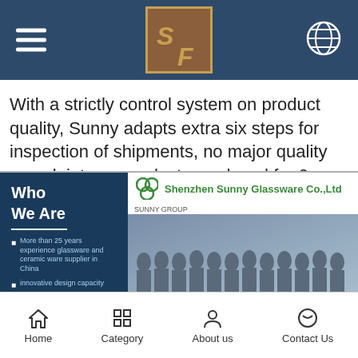[Figure (logo): Top navigation bar with hamburger menu on left, ST logo in center on dark navy background, globe icon on right]
With a strictly control system on product quality, Sunny adapts extra six steps for inspection of shipments, no major quality complaints on products produced for 9 consecutive years.
With our strong support, customers rapidly develop and from small workshop to industry leaders. We get your ideas becoming creative fragrance products and sell them very well in the market.
[Figure (photo): Banner showing Shenzhen Sunny Glassware Co.,Ltd with group photo of employees. Left side shows 'Who We Are' text on dark blue background with bullet about 25 years experience. Right side shows company logo and group photo.]
Home | Category | About us | Contact Us